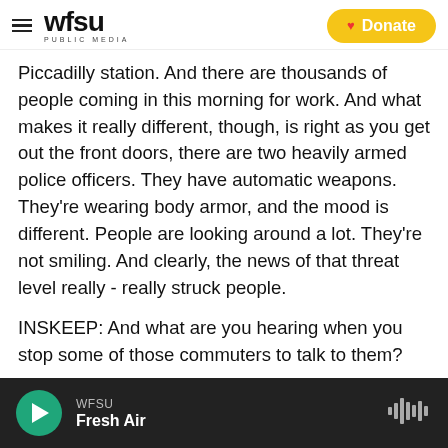WFSU PUBLIC MEDIA | Donate
Piccadilly station. And there are thousands of people coming in this morning for work. And what makes it really different, though, is right as you get out the front doors, there are two heavily armed police officers. They have automatic weapons. They're wearing body armor, and the mood is different. People are looking around a lot. They're not smiling. And clearly, the news of that threat level really - really struck people.
INSKEEP: And what are you hearing when you stop some of those commuters to talk to them?
WFSU Fresh Air